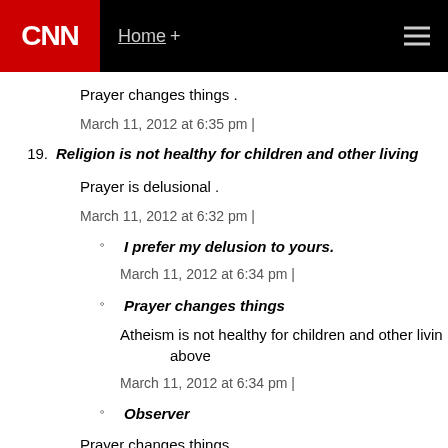CNN | Home +
Prayer changes things .
March 11, 2012 at 6:35 pm |
19. Religion is not healthy for children and other living
Prayer is delusional .
March 11, 2012 at 6:32 pm |
I prefer my delusion to yours.
March 11, 2012 at 6:34 pm |
Prayer changes things
Atheism is not healthy for children and other livin above
March 11, 2012 at 6:34 pm |
Observer
Prayer changes things.